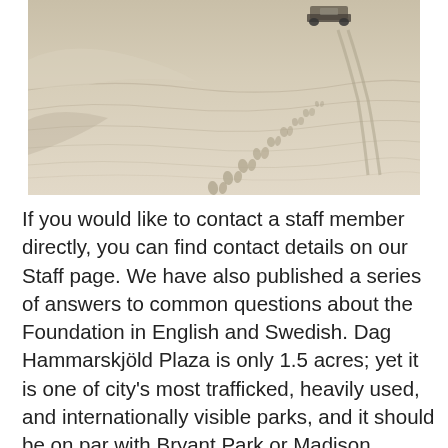[Figure (photo): Aerial or elevated view of sand dunes with footprints trailing across the surface and a vehicle (truck/SUV) visible at the top of the dune in the distance. Sepia/monochrome tone.]
If you would like to contact a staff member directly, you can find contact details on our Staff page. We have also published a series of answers to common questions about the Foundation in English and Swedish. Dag Hammarskjöld Plaza is only 1.5 acres; yet it is one of city's most trafficked, heavily used, and internationally visible parks, and it should be on par with Bryant Park or Madison Square Park. It is not practical for the park to be in a BID (Business Improvement District) because of its